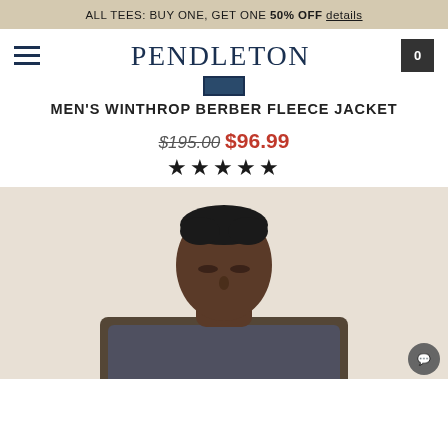ALL TEES: BUY ONE, GET ONE 50% OFF details
[Figure (logo): Pendleton brand logo with hamburger menu and cart icon]
MEN'S WINTHROP BERBER FLEECE JACKET
$195.00 $96.99
★★★★★
[Figure (photo): Male model wearing Pendleton Winthrop Berber Fleece Jacket, photographed from chest up against light background]